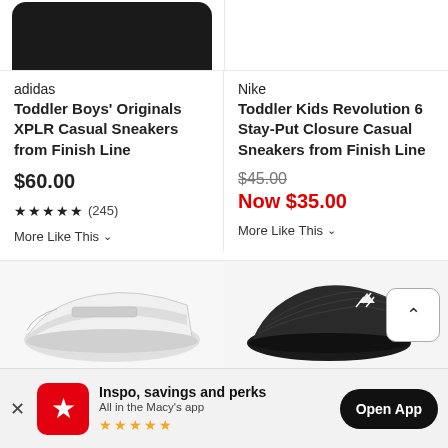[Figure (photo): Top portion of dark sneaker shoe visible at top-left of page]
adidas
Toddler Boys' Originals XPLR Casual Sneakers from Finish Line
$60.00
★ ★ ★ ★ ★ (245)
More Like This ∨
Nike
Toddler Kids Revolution 6 Stay-Put Closure Casual Sneakers from Finish Line
$45.00 Now $35.00
More Like This ∨
[Figure (photo): White velcro strap casual sneaker for toddlers]
[Figure (photo): Black and grey knit casual sneaker with Adidas logo]
Inspo, savings and perks
All in the Macy's app
★★★★★
Open App